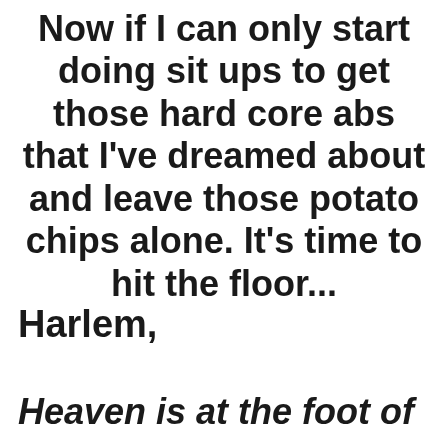Now if I can only start doing sit ups to get those hard core abs that I've dreamed about and leave those potato chips alone. It's time to hit the floor...
Harlem,
Heaven is at the foot of